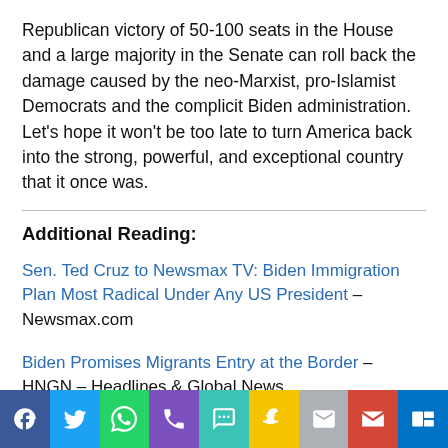Republican victory of 50-100 seats in the House and a large majority in the Senate can roll back the damage caused by the neo-Marxist, pro-Islamist Democrats and the complicit Biden administration. Let’s hope it won’t be too late to turn America back into the strong, powerful, and exceptional country that it once was.
Additional Reading:
Sen. Ted Cruz to Newsmax TV: Biden Immigration Plan Most Radical Under Any US President – Newsmax.com
Biden Promises Migrants Entry at the Border – HNGN – Headlines & Global News
Border officials say more people are sneaking past them as crossings soar and agents are overwhelmed –
[Figure (infographic): Social media share buttons bar at the bottom: Facebook (blue), Twitter (light blue), WhatsApp (green), Phone/Call (purple), SMS (teal), Snapchat (yellow), Email (gray), Gmail (red), Outlook (blue)]